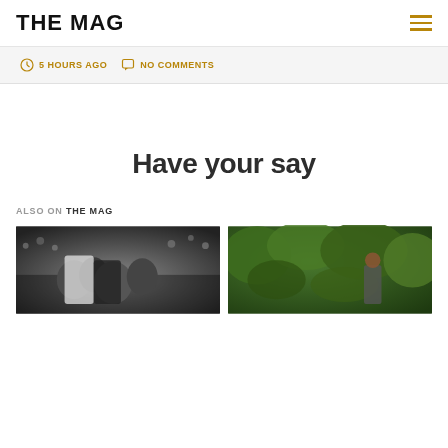THE MAG
5 HOURS AGO  NO COMMENTS
Have your say
ALSO ON THE MAG
[Figure (photo): Two football players in black and white jerseys competing, crowd in background]
[Figure (photo): Person near green foliage/bushes, outdoor setting]